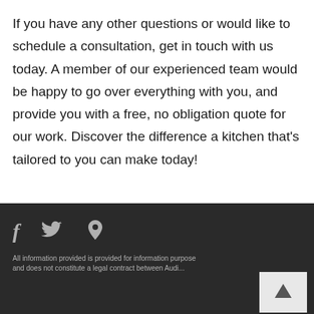If you have any other questions or would like to schedule a consultation, get in touch with us today. A member of our experienced team would be happy to go over everything with you, and provide you with a free, no obligation quote for our work. Discover the difference a kitchen that's tailored to you can make today!
All information provided is provided for information purpose and does not constitute a legal contract between Audi...